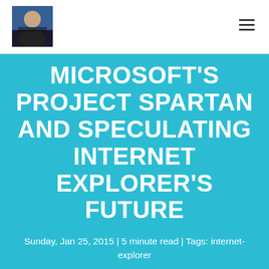[Blog logo/avatar image] [hamburger menu icon]
MICROSOFT'S PROJECT SPARTAN AND SPECULATING INTERNET EXPLORER'S FUTURE
Sunday, Jan 25, 2015 | 5 minute read | Tags: internet-explorer